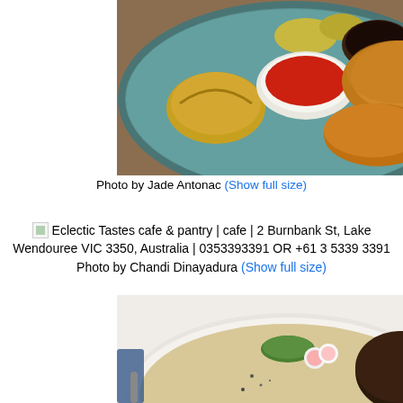[Figure (photo): Food photo showing dumplings and fried items on a teal/blue speckled ceramic plate with dipping sauces]
Photo by Jade Antonac (Show full size)
Eclectic Tastes cafe & pantry | cafe | 2 Burnbank St, Lake Wendouree VIC 3350, Australia | 0353393391 OR +61 3 5339 3391 Photo by Chandi Dinayadura (Show full size)
[Figure (photo): Food photo showing a plate with garnished dish including radish slices and green vegetable, with a glass of water in background]